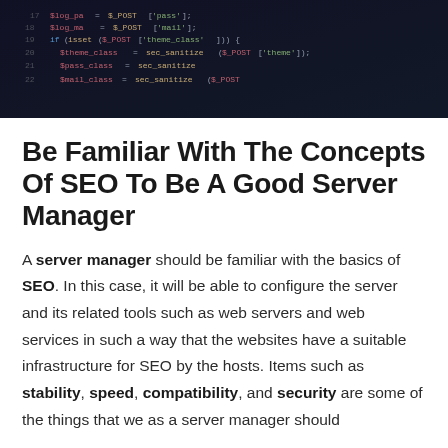[Figure (photo): Dark background screenshot of code editor showing colorful syntax-highlighted code lines on a dark screen, viewed at an angle.]
Be Familiar With The Concepts Of SEO To Be A Good Server Manager
A server manager should be familiar with the basics of SEO. In this case, it will be able to configure the server and its related tools such as web servers and web services in such a way that the websites have a suitable infrastructure for SEO by the hosts. Items such as stability, speed, compatibility, and security are some of the things that we as a server manager should